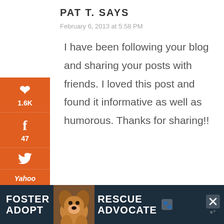PAT T. SAYS
February 6, 2013 at 5:58 PM
I have been following your blog and sharing your posts with friends. I loved this post and found it informative as well as humorous. Thanks for sharing!!
[Figure (infographic): Orange vertical social sharing sidebar with Pinterest (1.6K), Facebook (47), Twitter, Yahoo, Email, and Print buttons]
[Figure (infographic): Bottom ad banner: dark background with FOSTER ADOPT / RESCUE ADVOCATE text and dog photo]
1.6K
SHARES